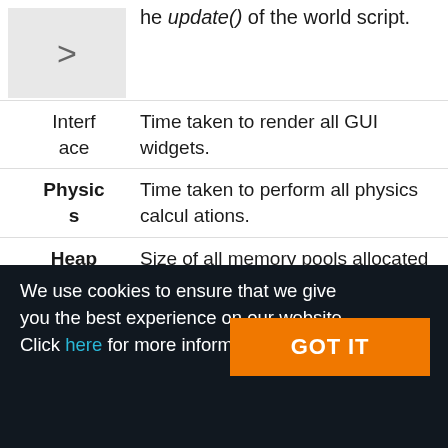he update() of the world script.
| Term | Description |
| --- | --- |
| Interface | Time taken to render all GUI widgets. |
| Physics | Time taken to perform all physics calculations. |
| Heap | Size of all memory pools allocated for the application. Unigine allocator allocates memory in pools which allows the allocation to be faster and more efficient (if |
We use cookies to ensure that we give you the best experience on our website. Click here for more information.
GOT IT